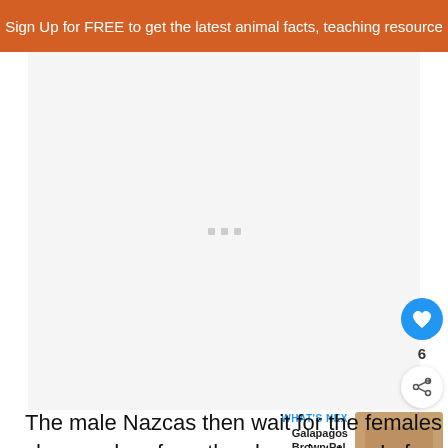Sign Up for FREE to get the latest animal facts, teaching resource
[Figure (other): Advertisement placeholder with three small gray squares centered in a light gray box]
The male Nazcas then wait for the females show and perform the sky point too. In females